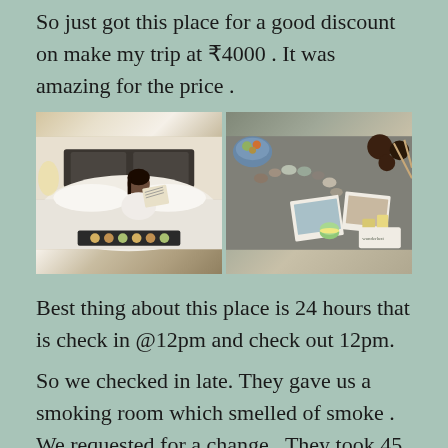So just got this place for a good discount on make my trip at ₹4000 . It was amazing for the price .
[Figure (photo): Two side-by-side photos: left shows a woman in white robe reading a newspaper on a hotel bed with food trays; right shows a flat-lay of jewelry, photos, macarons and decorative items on a gray surface.]
Best thing about this place is 24 hours that is check in @12pm and check out 12pm.
So we checked in late. They gave us a smoking room which smelled of smoke . We requested for a change . They took 45 minute...